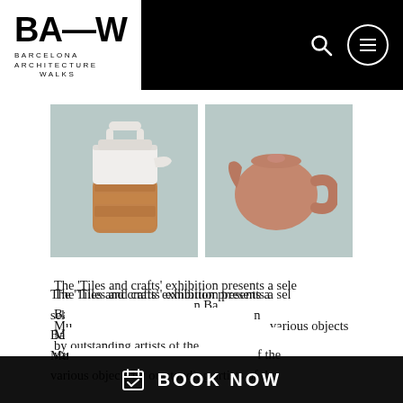BA—W BARCELONA ARCHITECTURE WALKS
[Figure (photo): Two ceramic/design objects on muted teal-grey background: left is a white and wood thermos/kettle with handle; right is a matte terracotta/pink teapot with side handle.]
The 'Tiles and crafts' exhibition presents a selection of the finest ceramic objects in Barcelona's National Museum... various objects by outstanding artists of the
[Figure (other): BOOK NOW call-to-action bar with calendar icon]